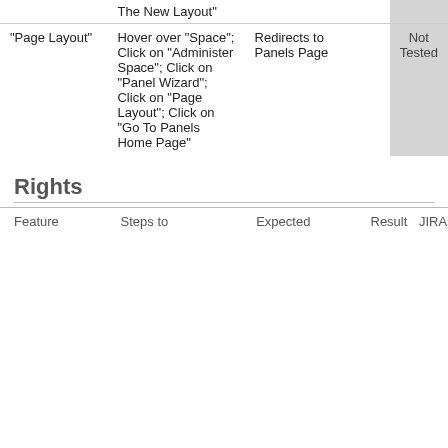| Feature | Steps to | Expected | Result | JIRA |
| --- | --- | --- | --- | --- |
|  | The New Layout" |  |  |
| "Page Layout" | Hover over "Space"; Click on "Administer Space"; Click on "Panel Wizard"; Click on "Page Layout"; Click on "Go To Panels Home Page" | Redirects to Panels Page | Not Tested |
Rights
| Feature | Steps to | Expected | Result | JIRA |
| --- | --- | --- | --- | --- |